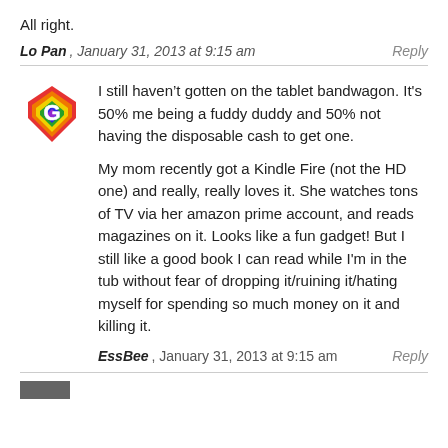All right.
Lo Pan , January 31, 2013 at 9:15 am   Reply
I still haven't gotten on the tablet bandwagon. It's 50% me being a fuddy duddy and 50% not having the disposable cash to get one.

My mom recently got a Kindle Fire (not the HD one) and really, really loves it. She watches tons of TV via her amazon prime account, and reads magazines on it. Looks like a fun gadget! But I still like a good book I can read while I'm in the tub without fear of dropping it/ruining it/hating myself for spending so much money on it and killing it.
EssBee , January 31, 2013 at 9:15 am   Reply